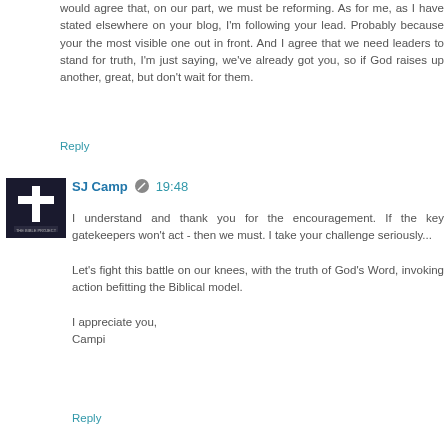would agree that, on our part, we must be reforming. As for me, as I have stated elsewhere on your blog, I'm following your lead. Probably because your the most visible one out in front. And I agree that we need leaders to stand for truth, I'm just saying, we've already got you, so if God raises up another, great, but don't wait for them.
Reply
SJ Camp  19:48
I understand and thank you for the encouragement. If the key gatekeepers won't act - then we must. I take your challenge seriously...

Let's fight this battle on our knees, with the truth of God's Word, invoking action befitting the Biblical model.

I appreciate you,
Campi
Reply